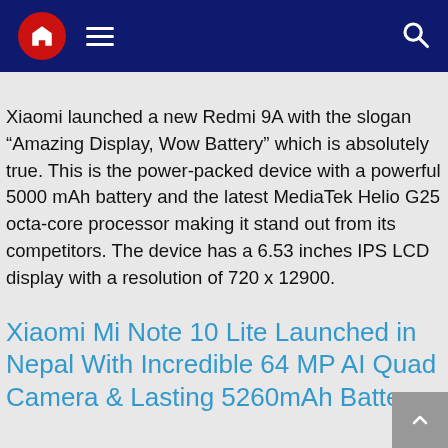Navigation bar with home icon, hamburger menu, and search icon
Xiaomi launched a new Redmi 9A with the slogan “Amazing Display, Wow Battery” which is absolutely true. This is the power-packed device with a powerful 5000 mAh battery and the latest MediaTek Helio G25 octa-core processor making it stand out from its competitors. The device has a 6.53 inches IPS LCD display with a resolution of 720 x 12900.
Xiaomi Mi Note 10 Lite Launched in Nepal With Incredible 64 MP AI Quad Camera & Lasting 5260mAh Battery